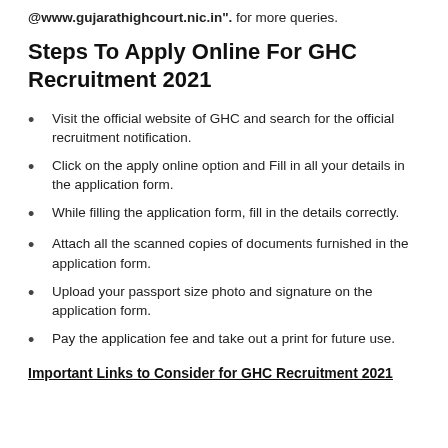@www.gujarathighcourt.nic.in". for more queries.
Steps To Apply Online For GHC Recruitment 2021
Visit the official website of GHC and search for the official recruitment notification.
Click on the apply online option and Fill in all your details in the application form.
While filling the application form, fill in the details correctly.
Attach all the scanned copies of documents furnished in the application form.
Upload your passport size photo and signature on the application form.
Pay the application fee and take out a print for future use.
Important Links to Consider for GHC Recruitment 2021